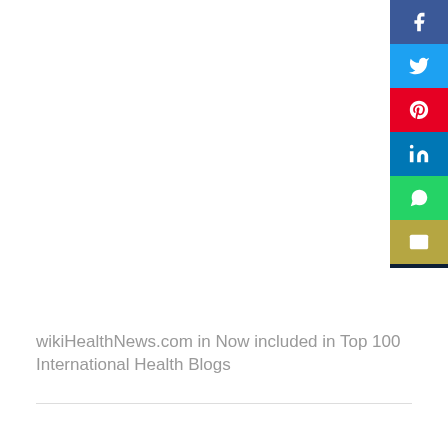[Figure (other): Social media share buttons sidebar: Facebook (blue), Twitter (light blue), Pinterest (red), LinkedIn (dark blue), WhatsApp (green), Email (gold/olive)]
wikiHealthNews.com in Now included in Top 100 International Health Blogs